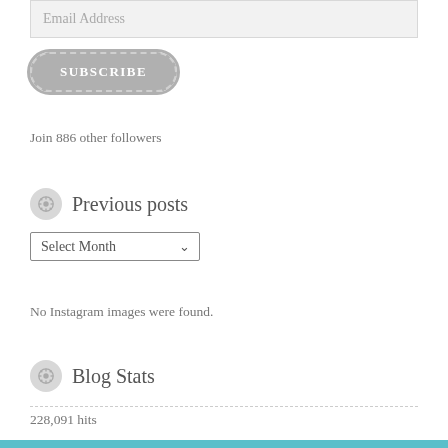Email Address
[Figure (screenshot): SUBSCRIBE button with rounded rectangle shape and dashed border]
Join 886 other followers
Previous posts
Select Month
No Instagram images were found.
Blog Stats
228,091 hits